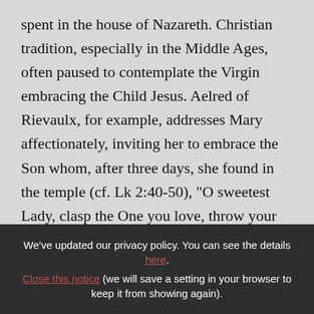spent in the house of Nazareth. Christian tradition, especially in the Middle Ages, often paused to contemplate the Virgin embracing the Child Jesus. Aelred of Rievaulx, for example, addresses Mary affectionately, inviting her to embrace the Son whom, after three days, she found in the temple (cf. Lk 2:40-50), "O sweetest Lady, clasp the One you love, throw your arms round his neck, embrace and kiss him, and compensate with
We've updated our privacy policy. You can see the details here.
Close this notice (we will save a setting in your browser to keep it from showing again).